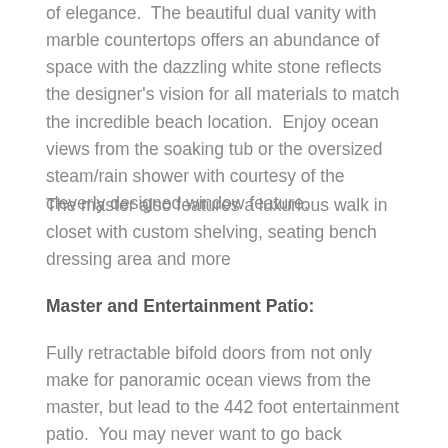of elegance.  The beautiful dual vanity with marble countertops offers an abundance of space with the dazzling white stone reflects the designer's vision for all materials to match the incredible beach location.  Enjoy ocean views from the soaking tub or the oversized steam/rain shower with courtesy of the cleverly designed window feature.
The master also features a luxurious walk in closet with custom shelving, seating bench dressing area and more
Master and Entertainment Patio:
Fully retractable bifold doors from not only make for panoramic ocean views from the master, but lead to the 442 foot entertainment patio.  You may never want to go back downstairs as the 3rd level